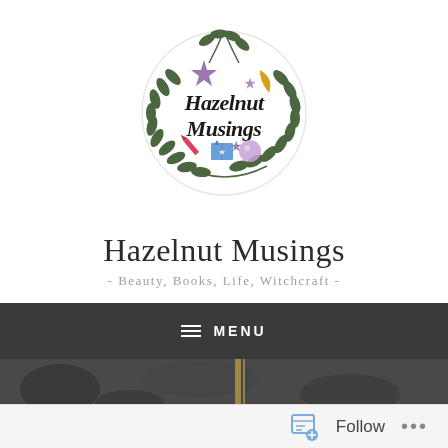[Figure (logo): Hazelnut Musings circular logo with illustrated wreath of leaves, stars, moon, lipstick, book, and crystal ball, with stylized script text 'Hazelnut Musings' in center]
Hazelnut Musings
- Beauty, Books, Life, Witchcraft -
≡ MENU
[Figure (photo): Partial photo strip at bottom showing dark botanical/floral background]
Follow ...